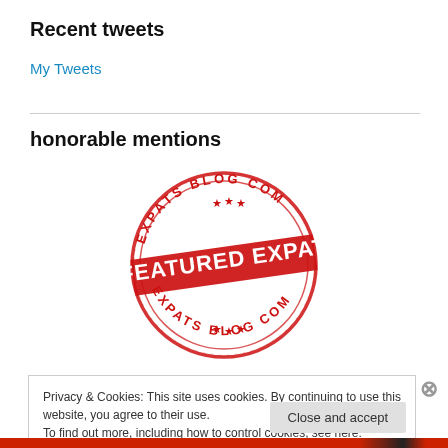Recent tweets
My Tweets
honorable mentions
[Figure (logo): Red circular stamp logo reading 'EXPATS BLOG COM' around the border with 'FEATURED EXPAT' in bold across the center and stars at top and bottom]
Privacy & Cookies: This site uses cookies. By continuing to use this website, you agree to their use.
To find out more, including how to control cookies, see here: Cookie Policy
Close and accept